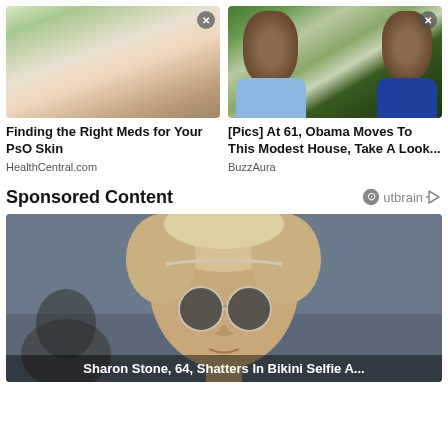[Figure (photo): Advertisement image showing hands holding a small tube/cream product on a green background]
Finding the Right Meds for Your PsO Skin
HealthCentral.com
[Figure (photo): Advertisement image showing Barack Obama and Michelle Obama outdoors with sunglasses, green hills in background]
[Pics] At 61, Obama Moves To This Modest House, Take A Look...
BuzzAura
Sponsored Content
[Figure (photo): Outbrain sponsored content logo]
[Figure (photo): Advertisement image showing a blonde woman with short hair and round sunglasses, face close-up with ocean/sky background]
Sharon Stone, 64, Shatters In Bikini Selfie A...